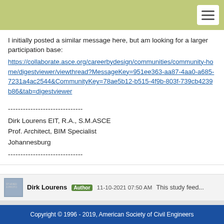[Figure (screenshot): Olive/yellow-green header navigation bar with hamburger menu button in top right]
I initially posted a similar message here, but am looking for a larger participation base:
https://collaborate.asce.org/careerbydesign/communities/community-home/digestviewer/viewthread?MessageKey=951ee363-aa87-4aa0-a685-7231a4ac2544&CommunityKey=78ae5b12-b515-4f9b-803f-739cb4239b86&tab=digestviewer
------------------------------
Dirk Lourens EIT, R.A., S.M.ASCE
Prof. Architect, BIM Specialist
Johannesburg
------------------------------
Dirk Lourens  Author  11-10-2021 07:50 AM  This study feed...
Copyright © 1996 - 2019, American Society of Civil Engineers